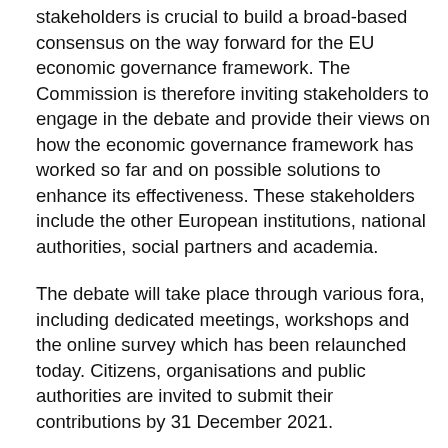stakeholders is crucial to build a broad-based consensus on the way forward for the EU economic governance framework. The Commission is therefore inviting stakeholders to engage in the debate and provide their views on how the economic governance framework has worked so far and on possible solutions to enhance its effectiveness. These stakeholders include the other European institutions, national authorities, social partners and academia.
The debate will take place through various fora, including dedicated meetings, workshops and the online survey which has been relaunched today. Citizens, organisations and public authorities are invited to submit their contributions by 31 December 2021.
Further Information
Questions and answers: Commission relaunches the